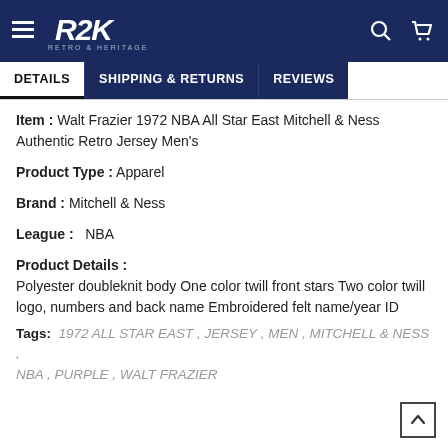R2K RETRO & HERITAGE — navigation header with menu, logo, search, and cart icons
DETAILS | SHIPPING & RETURNS | REVIEWS
Item : Walt Frazier 1972 NBA All Star East Mitchell & Ness Authentic Retro Jersey Men's
Product Type : Apparel
Brand : Mitchell & Ness
League : NBA
Product Details : Polyester doubleknit body One color twill front stars Two color twill logo, numbers and back name Embroidered felt name/year ID
Tags: 1972 ALL STAR EAST , JERSEY , MEN , MITCHELL & NESS , NBA , PURPLE , WALT FRAZIER